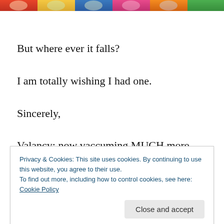[Figure (photo): Top strip of a colorful image, partially cropped, showing bright colors and figures.]
But where ever it falls?
I am totally wishing I had one.
Sincerely,
Valancy: now vaccuming MUCH more regularly and checking behind ALL bookcases. What? I'm just covering
Privacy & Cookies: This site uses cookies. By continuing to use this website, you agree to their use.
To find out more, including how to control cookies, see here: Cookie Policy
Sargent,c.1903-04; watercolor with body color over pencil